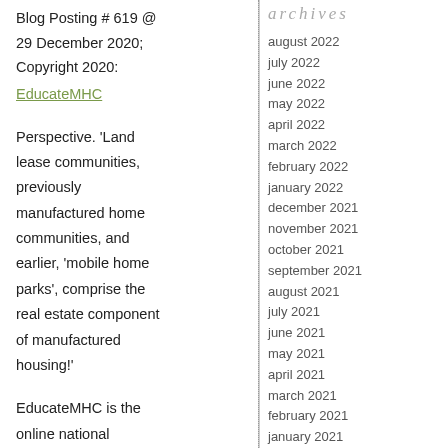Blog Posting # 619 @ 29 December 2020; Copyright 2020: EducateMHC
Perspective. 'Land lease communities, previously manufactured home communities, and earlier, 'mobile home parks', comprise the real estate component of manufactured housing!'
EducateMHC is the online national
archives
august 2022
july 2022
june 2022
may 2022
april 2022
march 2022
february 2022
january 2022
december 2021
november 2021
october 2021
september 2021
august 2021
july 2021
june 2021
may 2021
april 2021
march 2021
february 2021
january 2021
december 2020
november 2020
october 2020
september 2020
august 2020
july 2020
june 2020
may 2020
april 2020
march 2020